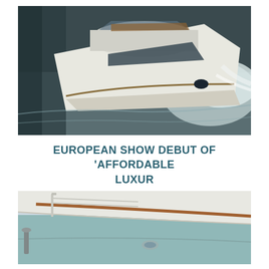[Figure (photo): Aerial view of a white luxury motor yacht speeding through dark water, creating a white wake. The yacht has a flybridge and a sleek modern design with teak accents.]
EUROPEAN SHOW DEBUT OF 'AFFORDABLE LUXUR
[Figure (photo): Close-up deck detail of a boat showing a curved white hull/deck edge with a copper or teak railing strip running along it, against a light blue-green hull.]